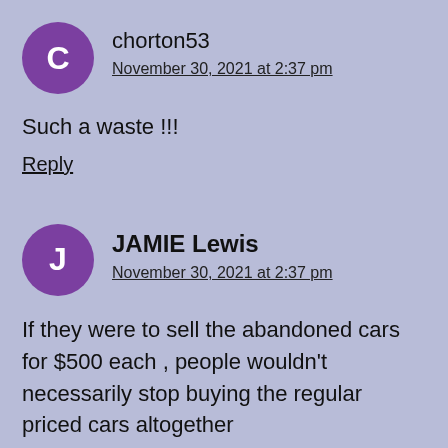chorton53
November 30, 2021 at 2:37 pm
Such a waste !!!
Reply
JAMIE Lewis
November 30, 2021 at 2:37 pm
If they were to sell the abandoned cars for $500 each , people wouldn't necessarily stop buying the regular priced cars altogether